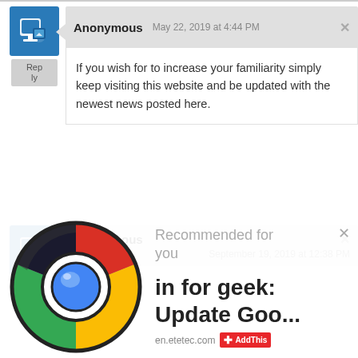[Figure (screenshot): Comment section screenshot with two Anonymous comments and a Chrome browser advertisement overlay]
Anonymous   May 22, 2019 at 4:44 PM
If you wish for to increase your familiarity simply keep visiting this website and be updated with the newest news posted here.
Anonymous   September 19, 2019 at 12:38 PM
Recommended for you
in for geek: Update Goo...
en.etetec.com